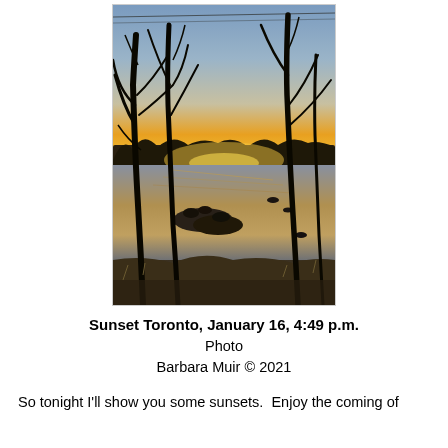[Figure (photo): A winter sunset scene viewed through bare deciduous trees, with geese or ducks resting on rocks and swimming in a partially frozen reflecting pond. The sky is orange and yellow near the horizon with blue-grey clouds above. Dark silhouettes of trees and branches fill the foreground.]
Sunset Toronto, January 16, 4:49 p.m.
Photo
Barbara Muir © 2021
So tonight I'll show you some sunsets.  Enjoy the coming of